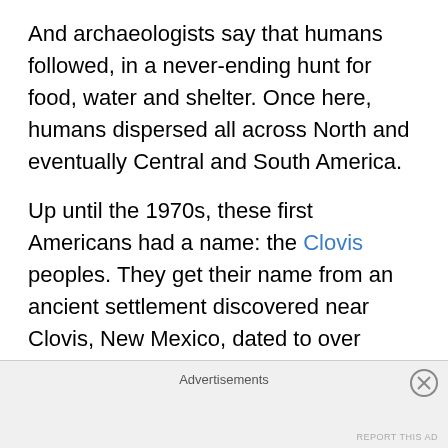And archaeologists say that humans followed, in a never-ending hunt for food, water and shelter. Once here, humans dispersed all across North and eventually Central and South America.
Up until the 1970s, these first Americans had a name: the Clovis peoples. They get their name from an ancient settlement discovered near Clovis, New Mexico, dated to over 11,000 years ago. And DNA suggests they are the direct ancestors of nearly 80 percent of all indigenous people in the Americas.
But there’s more. Today, it’s widely believed that before the Clovis people, there were others, and as Bawaya says,
Advertisements